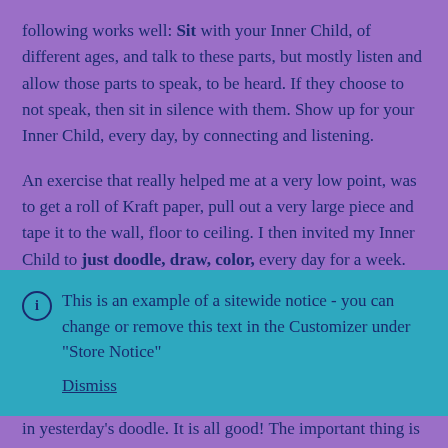following works well: Sit with your Inner Child, of different ages, and talk to these parts, but mostly listen and allow those parts to speak, to be heard. If they choose to not speak, then sit in silence with them. Show up for your Inner Child, every day, by connecting and listening.
An exercise that really helped me at a very low point, was to get a roll of Kraft paper, pull out a very large piece and tape it to the wall, floor to ceiling. I then invited my Inner Child to just doodle, draw, color, every day for a week. You
This is an example of a sitewide notice - you can change or remove this text in the Customizer under "Store Notice"
Dismiss
happened and other days not much, or maybe just to color in yesterday's doodle. It is all good! The important thing is to not judge anything that comes out, just show up every